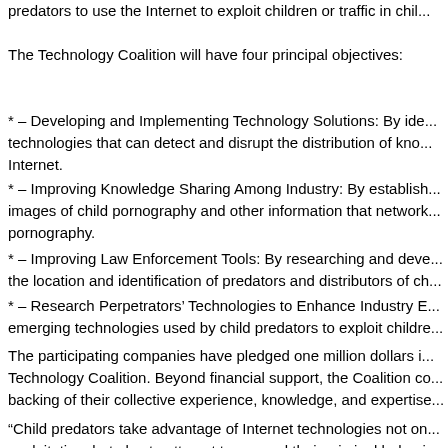predators to use the Internet to exploit children or traffic in chil...
The Technology Coalition will have four principal objectives:
* – Developing and Implementing Technology Solutions: By ide... technologies that can detect and disrupt the distribution of kno... Internet.
* – Improving Knowledge Sharing Among Industry: By establish... images of child pornography and other information that network... pornography.
* – Improving Law Enforcement Tools: By researching and deve... the location and identification of predators and distributors of ch...
* – Research Perpetrators’ Technologies to Enhance Industry E... emerging technologies used by child predators to exploit childre...
The participating companies have pledged one million dollars i... Technology Coalition. Beyond financial support, the Coalition co... backing of their collective experience, knowledge, and expertise...
“Child predators take advantage of Internet technologies not on... exploitation, but also to attempt to conceal their criminal behavi... NCMEC. “These leading companies have a wealth of expertise...